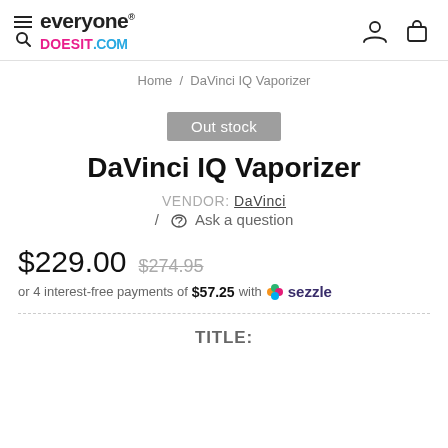everyone DOESIT.COM
Home / DaVinci IQ Vaporizer
Out stock
DaVinci IQ Vaporizer
VENDOR: DaVinci
/ Ask a question
$229.00  $274.95
or 4 interest-free payments of $57.25 with Sezzle
TITLE: